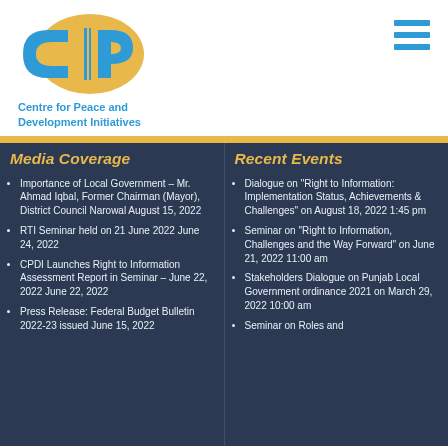[Figure (logo): CPDI logo - Centre for Peace and Development Initiatives, circular blue and yellow emblem with letters CiP]
Centre for Peace and Development Initiatives
Media Coverage
Importance of Local Government – Mr. Ahmad Iqbal, Former Chairman (Mayor), District Council Narowal August 15, 2022
RTI Seminar held on 21 June 2022 June 24, 2022
CPDI Launches Right to Information Assessment Report in Seminar – June 22, 2022 June 22, 2022
Press Release: Federal Budget Bulletin 2022-23 issued June 15, 2022
Recent Events
Dialogue on "Right to Information: Implementation Status, Achievements & Challenges" on August 18, 2022 1:45 pm
Seminar on "Right to Information, Challenges and the Way Forward" on June 21, 2022 11:00 am
Stakeholders Dialogue on Punjab Local Government ordinance 2021 on March 29, 2022 10:00 am
Seminar on Roles and